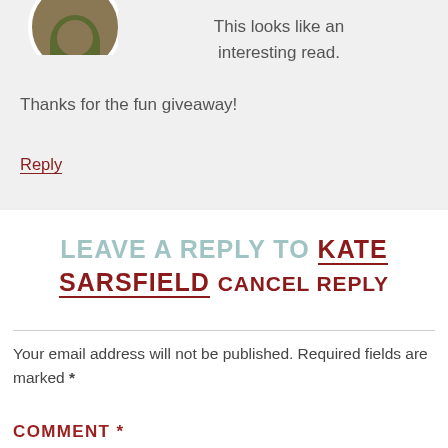This looks like an interesting read. Thanks for the fun giveaway!
Reply
LEAVE A REPLY TO KATE SARSFIELD CANCEL REPLY
Your email address will not be published. Required fields are marked *
COMMENT *